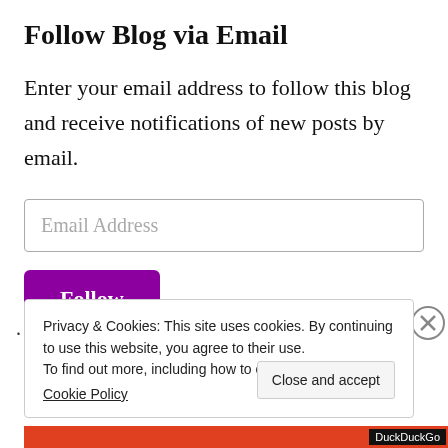Follow Blog via Email
Enter your email address to follow this blog and receive notifications of new posts by email.
Email Address
Follow
Privacy & Cookies: This site uses cookies. By continuing to use this website, you agree to their use. To find out more, including how to control cookies, see here:
Cookie Policy
Close and accept